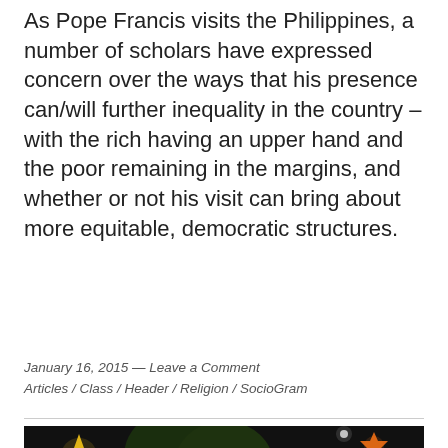As Pope Francis visits the Philippines, a number of scholars have expressed concern over the ways that his presence can/will further inequality in the country – with the rich having an upper hand and the poor remaining in the margins, and whether or not his visit can bring about more equitable, democratic structures.
January 16, 2015 — Leave a Comment
Articles / Class / Header / Religion / SocioGram
[Figure (photo): Nighttime outdoor scene with colorful illuminated decorations and lights; people visible in the foreground and background]